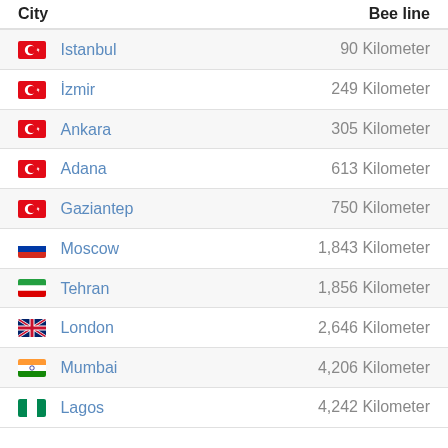City | Bee line
| City | Bee line |
| --- | --- |
| Istanbul | 90 Kilometer |
| İzmir | 249 Kilometer |
| Ankara | 305 Kilometer |
| Adana | 613 Kilometer |
| Gaziantep | 750 Kilometer |
| Moscow | 1,843 Kilometer |
| Tehran | 1,856 Kilometer |
| London | 2,646 Kilometer |
| Mumbai | 4,206 Kilometer |
| Lagos | 4,242 Kilometer |